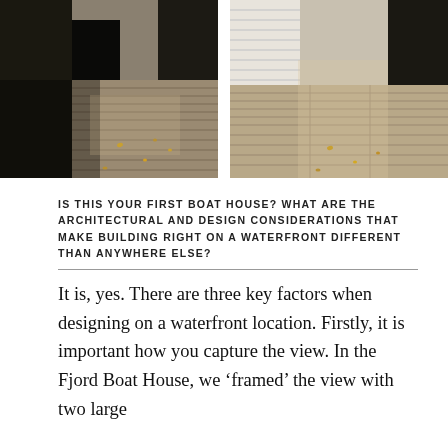[Figure (photo): Two photos side by side showing a wooden deck/pier with autumn leaves, dark wooden building facades with large doors/openings. Left photo shows darker shadows; right photo shows lighter tones with horizontal siding visible on left side.]
IS THIS YOUR FIRST BOAT HOUSE? WHAT ARE THE ARCHITECTURAL AND DESIGN CONSIDERATIONS THAT MAKE BUILDING RIGHT ON A WATERFRONT DIFFERENT THAN ANYWHERE ELSE?
It is, yes. There are three key factors when designing on a waterfront location. Firstly, it is important how you capture the view. In the Fjord Boat House, we ‘framed’ the view with two large